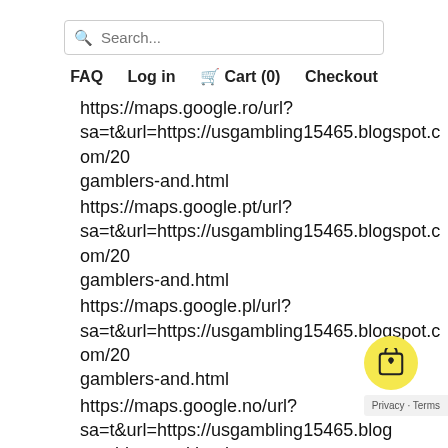Search... FAQ  Log in  Cart (0)  Checkout
https://maps.google.ro/url?
sa=t&url=https://usgambling15465.blogspot.com/20
gamblers-and.html
https://maps.google.pt/url?
sa=t&url=https://usgambling15465.blogspot.com/20
gamblers-and.html
https://maps.google.pl/url?
sa=t&url=https://usgambling15465.blogspot.com/20
gamblers-and.html
https://maps.google.no/url?
sa=t&url=https://usgambling15465.blog
gamblers-and.html
https://maps.google.nl/url?